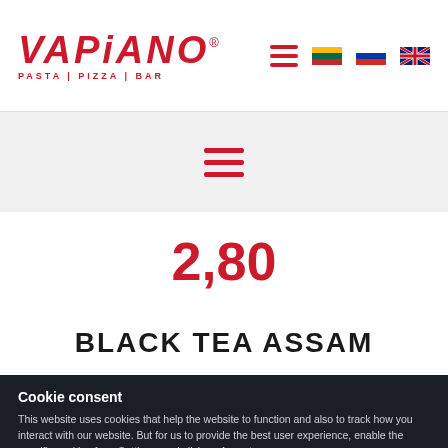VAPIANO® PASTA | PIZZA | BAR — navigation header with hamburger menu and language flags
[Figure (screenshot): Hamburger/menu icon in red, centered in the top sub-section]
2,80
BLACK TEA ASSAM
Cookie consent
This website uses cookies that help the website to function and also to track how you interact with our website. But for us to provide the best user experience, enable the specific cookies from Settings, and click on Accept.
Preferences   Accept All